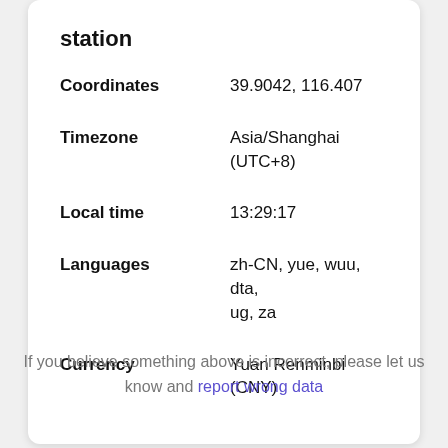station
| Field | Value |
| --- | --- |
| Coordinates | 39.9042, 116.407 |
| Timezone | Asia/Shanghai (UTC+8) |
| Local time | 13:29:17 |
| Languages | zh-CN, yue, wuu, dta, ug, za |
| Currency | Yuan Renminbi (CNY) |
If you believe something above is incorrect, please let us know and report wrong data